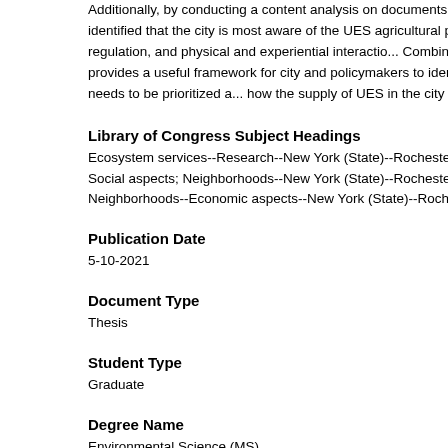Additionally, by conducting a content analysis on documents published by the government, I identified that the city is most aware of the UES agricultural pro... hydrological and water flow regulation, and physical and experiential interactio... Combined together, all of this information provides a useful framework for city and policymakers to identify where UGS development needs to be prioritized a... how the supply of UES in the city is inequitably distributed.
Library of Congress Subject Headings
Ecosystem services--Research--New York (State)--Rochester; Ecosystem ser... Social aspects; Neighborhoods--New York (State)--Rochester--Social conditio... Neighborhoods--Economic aspects--New York (State)--Rochester
Publication Date
5-10-2021
Document Type
Thesis
Student Type
Graduate
Degree Name
Environmental Science (MS)
Department, Program, or Center
Thomas H. Gosnell School of Life Sciences (COS)